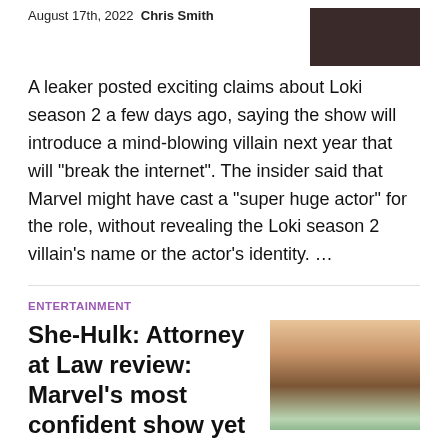August 17th, 2022 Chris Smith
[Figure (photo): Dark thumbnail image of a scene, partially visible at top right]
A leaker posted exciting claims about Loki season 2 a few days ago, saying the show will introduce a mind-blowing villain next year that will “break the internet”. The insider said that Marvel might have cast a “super huge actor” for the role, without revealing the Loki season 2 villain’s name or the actor’s identity. …
ENTERTAINMENT
She-Hulk: Attorney at Law review: Marvel’s most confident show yet
[Figure (photo): Photo of a woman (She-Hulk character) standing on a beach or outdoor scene with tropical background]
August 17th, 2022 Jacob Siegal
Marvel’s output on Disney Plus has been something of a mixed bag. There have been more successes than failures, but fewer in between — the situation is that the